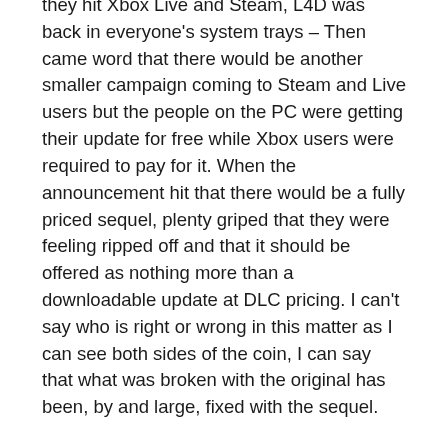they hit Xbox Live and Steam, L4D was back in everyone's system trays – Then came word that there would be another smaller campaign coming to Steam and Live users but the people on the PC were getting their update for free while Xbox users were required to pay for it. When the announcement hit that there would be a fully priced sequel, plenty griped that they were feeling ripped off and that it should be offered as nothing more than a downloadable update at DLC pricing. I can't say who is right or wrong in this matter as I can see both sides of the coin, I can say that what was broken with the original has been, by and large, fixed with the sequel.
This is a damn fine sequel in my opinion. They've kept the core of the game that was so much fun and added/expanded upon it with a variety of new things. For starters, we have a whole new set of survivors (thought I do miss Zoe) in a completely new setting. New Orleans – The land of beads, booze and boobs